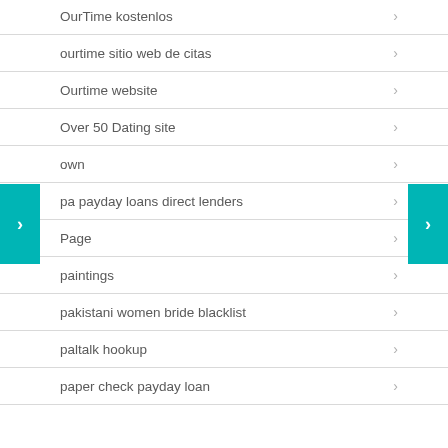OurTime kostenlos
ourtime sitio web de citas
Ourtime website
Over 50 Dating site
own
pa payday loans direct lenders
Page
paintings
pakistani women bride blacklist
paltalk hookup
paper check payday loan